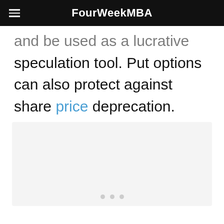FourWeekMBA
and be used as a lucrative speculation tool. Put options can also protect against share price deprecation.
[Figure (other): Image placeholder with three dots navigation indicator at the bottom, light gray background]